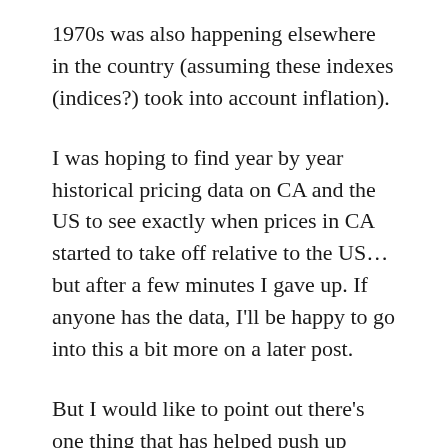1970s was also happening elsewhere in the country (assuming these indexes (indices?) took into account inflation).
I was hoping to find year by year historical pricing data on CA and the US to see exactly when prices in CA started to take off relative to the US… but after a few minutes I gave up. If anyone has the data, I'll be happy to go into this a bit more on a later post.
But I would like to point out there's one thing that has helped push up home prices in CA quite a bit that Sowell doesn't mention… Proposition 13, which passed in 1978, put a cap on property taxes.